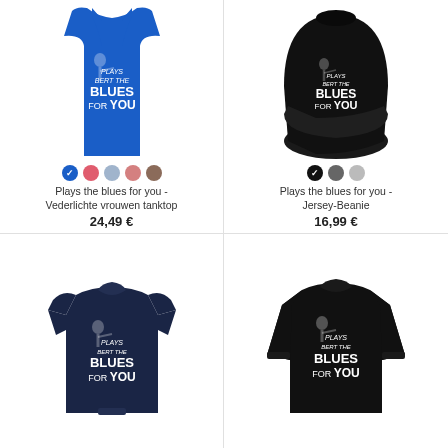[Figure (photo): Blue racerback women's tank top with 'Plays The Blues For You' guitar player print]
Plays the blues for you - Vederlichte vrouwen tanktop
24,49 €
[Figure (photo): Black jersey beanie with 'Plays The Blues For You' guitar player print]
Plays the blues for you - Jersey-Beanie
16,99 €
[Figure (photo): Navy blue long sleeve baby bodysuit with 'Plays The Blues For You' guitar player print]
[Figure (photo): Black long sleeve shirt with 'Plays The Blues For You' guitar player print]